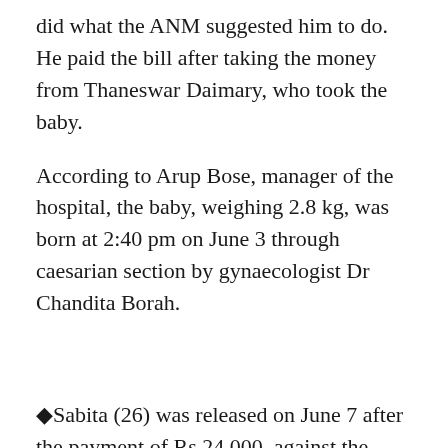did what the ANM suggested him to do. He paid the bill after taking the money from Thaneswar Daimary, who took the baby.
According to Arup Bose, manager of the hospital, the baby, weighing 2.8 kg, was born at 2:40 pm on June 3 through caesarian section by gynaecologist Dr Chandita Borah.
◆Sabita (26) was released on June 7 after the payment of Rs 24,000, against the outstanding bill of Rs 30,000, by Philip. The birth certificate, issued by the hospital, bore the name of Philip Narzary and Sabita Narzary as parents